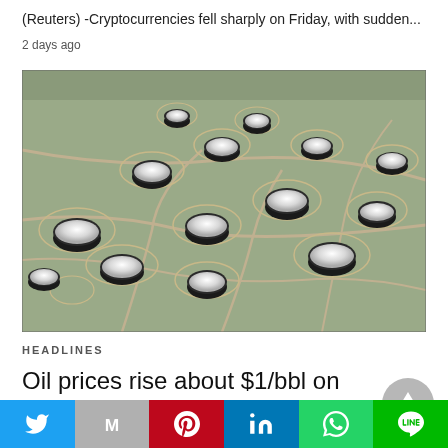(Reuters) -Cryptocurrencies fell sharply on Friday, with sudden...
2 days ago
[Figure (photo): Aerial photograph of large cylindrical oil storage tanks spread across an open landscape, each with a white dome top and surrounded by containment berm rings.]
HEADLINES
Oil prices rise about $1/bbl on prospect of subdued U.S. rate hikes